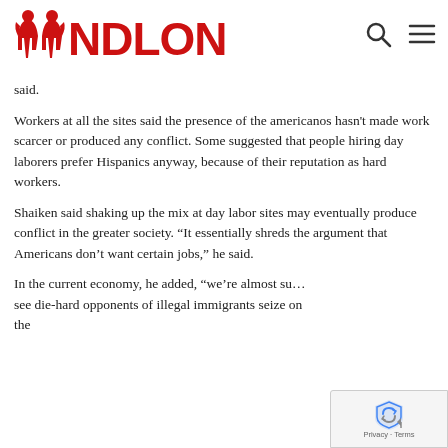NDLON
said.
Workers at all the sites said the presence of the americanos hasn't made work scarcer or produced any conflict. Some suggested that people hiring day laborers prefer Hispanics anyway, because of their reputation as hard workers.
Shaiken said shaking up the mix at day labor sites may eventually produce conflict in the greater society. “It essentially shreds the argument that Americans don’t want certain jobs,” he said.
In the current economy, he added, “we’re almost su… see die-hard opponents of illegal immigrants seize on the…